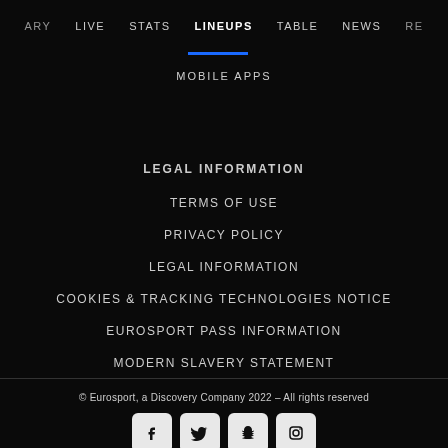ARY  LIVE  STATS  LINEUPS  TABLE  NEWS  RE
MOBILE APPS
LEGAL INFORMATION
TERMS OF USE
PRIVACY POLICY
LEGAL INFORMATION
COOKIES & TRACKING TECHNOLOGIES NOTICE
EUROSPORT PASS INFORMATION
MODERN SLAVERY STATEMENT
© Eurosport, a Discovery Company 2022 – All rights reserved